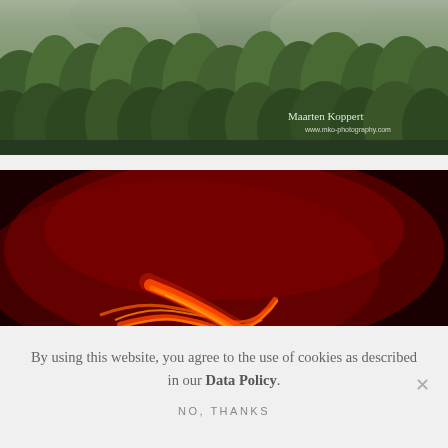[Figure (photo): Aerial photo of lush green tropical forest/jungle hillside, partially cropped at top. White cursive watermark 'Maarten Koppert' and 'www.mko-photography.com' in bottom-right corner.]
[Figure (photo): Dark red/crimson night-time photo of glowing orange-red lava flows streaming diagonally across a volcanic slope, with rich dark red sky background.]
By using this website, you agree to the use of cookies as described in our Data Policy.
NO, THANKS